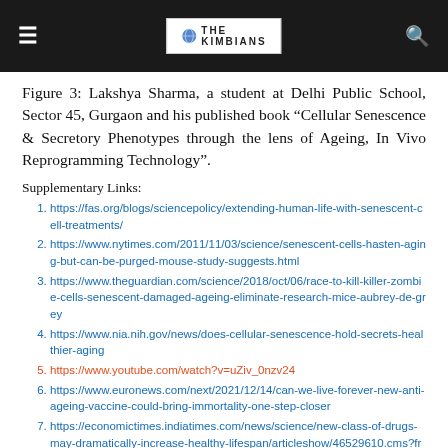THE KIMBIANS (logo)
Figure 3: Lakshya Sharma, a student at Delhi Public School, Sector 45, Gurgaon and his published book “Cellular Senescence & Secretory Phenotypes through the lens of Ageing, In Vivo Reprogramming Technology”.
Supplementary Links:
https://fas.org/blogs/sciencepolicy/extending-human-life-with-senescent-cell-treatments/
https://www.nytimes.com/2011/11/03/science/senescent-cells-hasten-aging-but-can-be-purged-mouse-study-suggests.html
https://www.theguardian.com/science/2018/oct/06/race-to-kill-killer-zombie-cells-senescent-damaged-ageing-eliminate-research-mice-aubrey-de-grey
https://www.nia.nih.gov/news/does-cellular-senescence-hold-secrets-healthier-aging
https://www.youtube.com/watch?v=uZiv_0nzv24
https://www.euronews.com/next/2021/12/14/can-we-live-forever-new-anti-ageing-vaccine-could-bring-immortality-one-step-closer
https://economictimes.indiatimes.com/news/science/new-class-of-drugs-may-dramatically-increase-healthy-lifespan/articleshow/46529610.cms?from=mdr
https://www.mayoclinic.org/medical-professionals/endocrinology/news/senescent-cells-promising-anti-aging-targets-